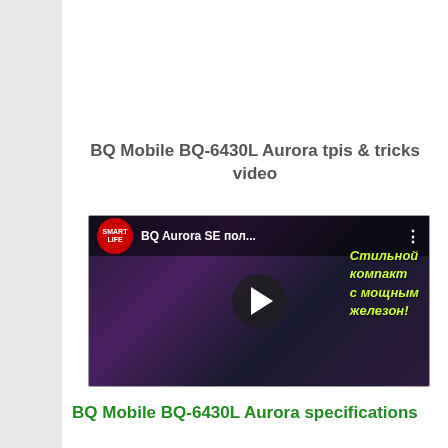BQ Mobile BQ-6430L Aurora tpis & tricks video
[Figure (screenshot): YouTube video thumbnail showing BQ Aurora SE smartphone review by Smart Life channel, with Russian text overlay and play button]
BQ Mobile BQ-6430L Aurora specifications